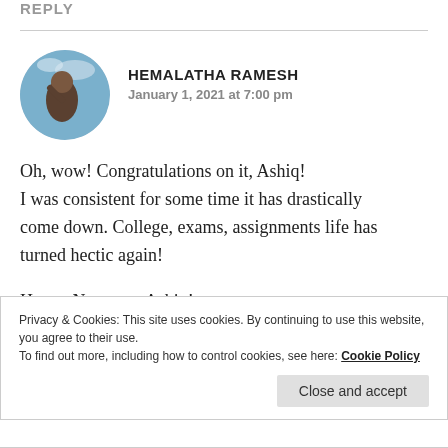REPLY
[Figure (photo): Circular avatar photo of Hemalatha Ramesh showing a person against a blue sky background]
HEMALATHA RAMESH
January 1, 2021 at 7:00 pm
Oh, wow! Congratulations on it, Ashiq! I was consistent for some time it has drastically come down. College, exams, assignments life has turned hectic again!
Happy Newyear, Ashiq!
Privacy & Cookies: This site uses cookies. By continuing to use this website, you agree to their use.
To find out more, including how to control cookies, see here: Cookie Policy
Close and accept